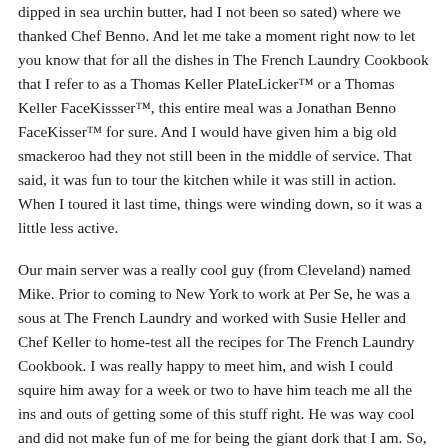dipped in sea urchin butter, had I not been so sated) where we thanked Chef Benno. And let me take a moment right now to let you know that for all the dishes in The French Laundry Cookbook that I refer to as a Thomas Keller PlateLicker™ or a Thomas Keller FaceKissser™, this entire meal was a Jonathan Benno FaceKisser™ for sure. And I would have given him a big old smackeroo had they not still been in the middle of service. That said, it was fun to tour the kitchen while it was still in action. When I toured it last time, things were winding down, so it was a little less active.
Our main server was a really cool guy (from Cleveland) named Mike. Prior to coming to New York to work at Per Se, he was a sous at The French Laundry and worked with Susie Heller and Chef Keller to home-test all the recipes for The French Laundry Cookbook. I was really happy to meet him, and wish I could squire him away for a week or two to have him teach me all the ins and outs of getting some of this stuff right. He was way cool and did not make fun of me for being the giant dork that I am. So, he's alright in my book, that's for sure.
The one thing that struck me as weird from our first time at Per Se...